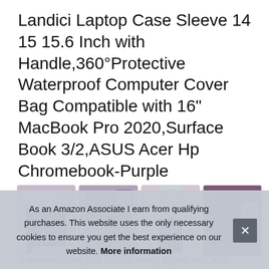Landici Laptop Case Sleeve 14 15 15.6 Inch with Handle,360°Protective Waterproof Computer Cover Bag Compatible with 16" MacBook Pro 2020,Surface Book 3/2,ASUS Acer Hp Chromebook-Purple
[Figure (photo): Four product thumbnail images of the Landici laptop sleeve in purple color showing different angles and usage scenarios]
LAN
resi
protection:protect your tablet or laptop against dust, foam
As an Amazon Associate I earn from qualifying purchases. This website uses the only necessary cookies to ensure you get the best experience on our website. More information